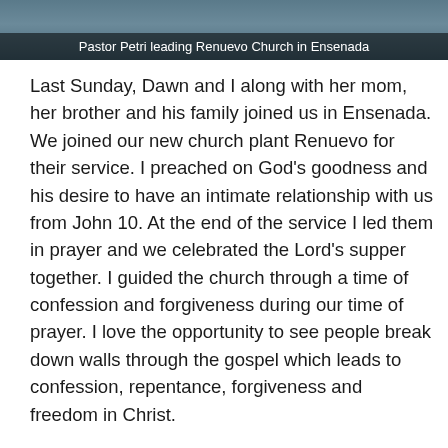[Figure (photo): Photo of Pastor Petri leading Renuevo Church in Ensenada, with a caption overlay at the bottom of the image.]
Pastor Petri leading Renuevo Church in Ensenada
Last Sunday, Dawn and I along with her mom, her brother and his family joined us in Ensenada. We joined our new church plant Renuevo for their service. I preached on God's goodness and his desire to have an intimate relationship with us from John 10. At the end of the service I led them in prayer and we celebrated the Lord's supper together. I guided the church through a time of confession and forgiveness during our time of prayer. I love the opportunity to see people break down walls through the gospel which leads to confession, repentance, forgiveness and freedom in Christ.
The Lord gave us a wonderful and special time of celebration together!